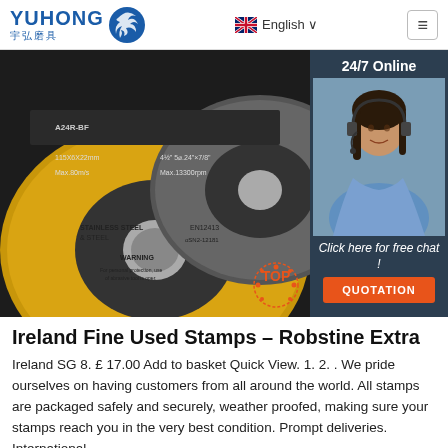YUHONG 宇弘磨具 — English — Navigation menu
[Figure (photo): Close-up photo of yellow and black grinding/cutting abrasive discs labeled A24R-BF, 115x6x22mm, Max.80m/s, STAINLESS STEEL & STEEL, WARNING text, EN12413, with safety symbols. Overlaid with a 24/7 Online customer service chat sidebar showing a female customer service agent with headset, 'Click here for free chat!' text, and an orange QUOTATION button. A red/orange TOP badge is visible bottom right.]
Ireland Fine Used Stamps – Robstine Extra
Ireland SG 8. £ 17.00 Add to basket Quick View. 1. 2. . We pride ourselves on having customers from all around the world. All stamps are packaged safely and securely, weather proofed, making sure your stamps reach you in the very best condition. Prompt deliveries. International